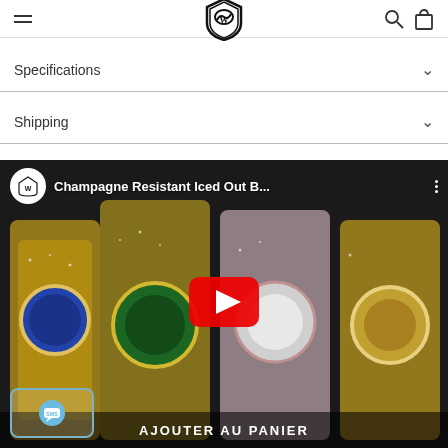Navigation header with hamburger menu, SW shield logo, search and cart icons
Specifications
Shipping
[Figure (screenshot): YouTube video thumbnail showing multiple iced-out diamond watches on dark background. Title: 'Champagne Resistant Iced Out B...' with YouTube play button overlay and SMS bubble widget at bottom left. Bottom overlay text: 'AJOUTER AU PANIER']